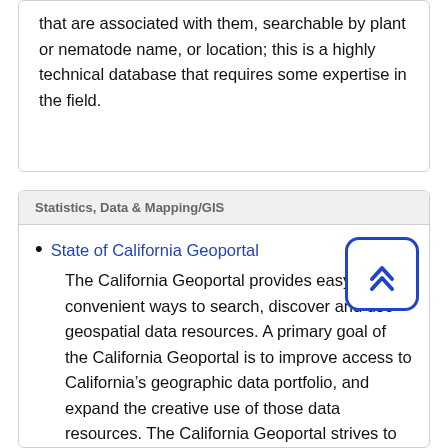that are associated with them, searchable by plant or nematode name, or location; this is a highly technical database that requires some expertise in the field.
Statistics, Data & Mapping/GIS
State of California Geoportal
The California Geoportal provides easy and convenient ways to search, discover and use geospatial data resources. A primary goal of the California Geoportal is to improve access to California’s geographic data portfolio, and expand the creative use of those data resources. The California Geoportal strives to increase information transparency, and is committed to creating an open environment for accessing important government data and resources. This is a significant...